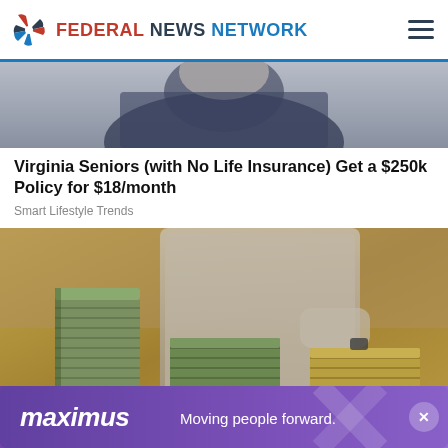FEDERAL NEWS NETWORK
[Figure (photo): Cropped photo of a person (senior) in dark clothing, upper body only visible]
Virginia Seniors (with No Life Insurance) Get a $250k Policy for $18/month
Smart Lifestyle Trends
[Figure (photo): Photo of large stacks of bundled US dollar bills on a table, with a person's torso visible in the background]
[Figure (other): Maximus advertisement banner: 'maximus Moving people forward.' with close button]